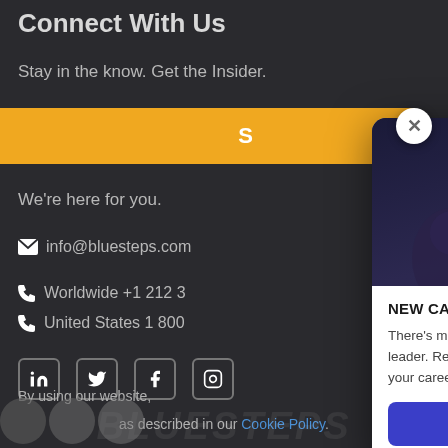Connect With Us
Stay in the know. Get the Insider.
S
We're here for you.
info@bluesteps.com
Worldwide +1 212 3
United States 1 800
[Figure (screenshot): Social media icons: LinkedIn, Twitter, Facebook, Instagram]
[Figure (screenshot): Modal popup with career assessments guide. Header image shows 'CAREER ASSESSMENTS - An Executive's Guide to Gaining Deeper Insight into Yourself'. Body text reads 'NEW CAREER GUIDE' followed by description and 'READ THE GUIDE' button.]
By using our website,
as described in our Cookie Policy.